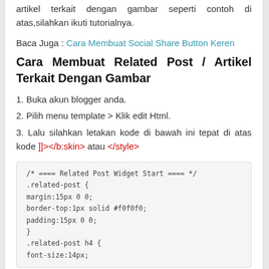artikel terkait dengan gambar seperti contoh di atas,silahkan ikuti tutorialnya.
Baca Juga : Cara Membuat Social Share Button Keren
Cara Membuat Related Post / Artikel Terkait Dengan Gambar
1. Buka akun blogger anda.
2. Pilih menu template > Klik edit Html.
3. Lalu silahkan letakan kode di bawah ini tepat di atas kode ]]></b:skin> atau </style>
[Figure (screenshot): CSS code block showing Related Post Widget styles: .related-post { margin:15px 0 0; border-top:1px solid #f0f0f0; padding:15px 0 0; } .related-post h4 { font-size:14px;]